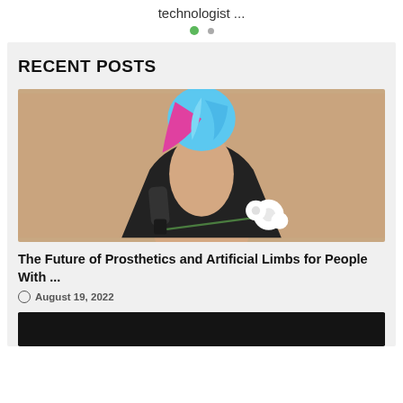technologist ...
[Figure (other): Pagination dots: one filled green dot and one smaller grey dot]
RECENT POSTS
[Figure (photo): Woman seen from behind wearing a black backless dress with blue and pink hair, holding a white flower with a prosthetic arm, against a beige background]
The Future of Prosthetics and Artificial Limbs for People With ...
August 19, 2022
[Figure (photo): Dark-toned image at the bottom of the page, partially visible]